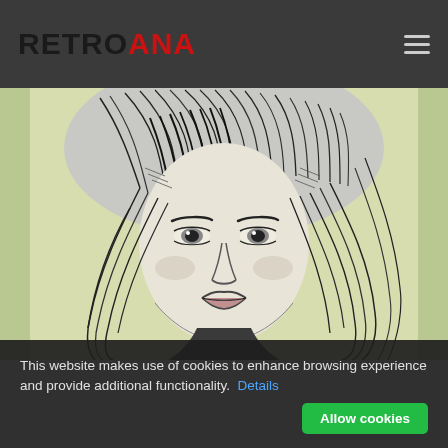RETRO ANA
[Figure (illustration): Black and white pencil sketch illustration of a woman's face and hair, rendered in comic/manga style with detailed crosshatching. The woman has long wavy hair with bangs, expressive eyes, and defined lips. Background has a faint green/yellow tint.]
This website makes use of cookies to enhance browsing experience and provide additional functionality. Details
Allow cookies